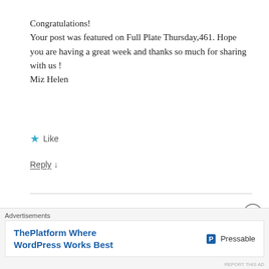Congratulations!
Your post was featured on Full Plate Thursday,461. Hope you are having a great week and thanks so much for sharing with us !
Miz Helen
★ Like
Reply ↓
[Figure (photo): Avatar image of a cupcake with pink frosting and a strawberry on top]
nancyc [badge] December 10, 2019 at 8:47
[Figure (other): Close button (X in circle) overlay]
Advertisements
ThePlatform Where WordPress Works Best  P Pressable